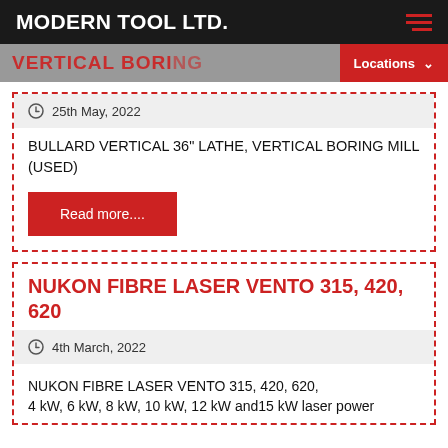MODERN TOOL LTD.
VERTICAL BORING
Locations
25th May, 2022
BULLARD VERTICAL 36" LATHE, VERTICAL BORING MILL (USED)
Read more....
NUKON FIBRE LASER VENTO 315, 420, 620
4th March, 2022
NUKON FIBRE LASER VENTO 315, 420, 620, 4 kW, 6 kW, 8 kW, 10 kW, 12 kW and15 kW laser power